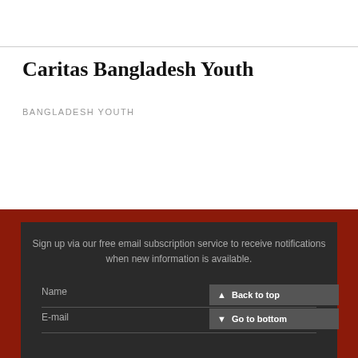Caritas Bangladesh Youth
BANGLADESH YOUTH
Sign up via our free email subscription service to receive notifications when new information is available.
Name
E-mail
Back to top
Go to bottom